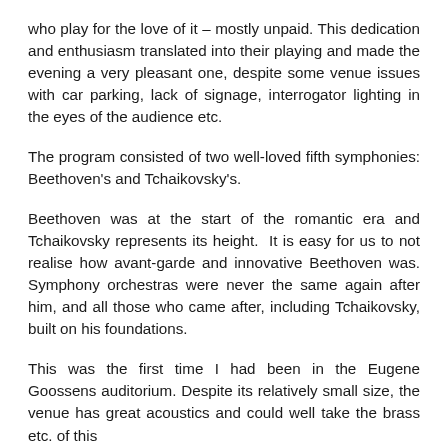who play for the love of it – mostly unpaid. This dedication and enthusiasm translated into their playing and made the evening a very pleasant one, despite some venue issues with car parking, lack of signage, interrogator lighting in the eyes of the audience etc.
The program consisted of two well-loved fifth symphonies: Beethoven's and Tchaikovsky's.
Beethoven was at the start of the romantic era and Tchaikovsky represents its height. It is easy for us to not realise how avant-garde and innovative Beethoven was. Symphony orchestras were never the same again after him, and all those who came after, including Tchaikovsky, built on his foundations.
This was the first time I had been in the Eugene Goossens auditorium. Despite its relatively small size, the venue has great acoustics and could well take the brass etc. of this